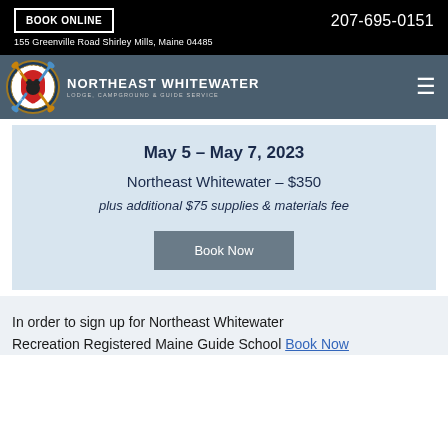BOOK ONLINE   207-695-0151
155 Greenville Road Shirley Mills, Maine 04485
[Figure (logo): Northeast Whitewater Lodge, Campground & Guide Service logo with crossed paddles and circular emblem]
May 5 – May 7, 2023
Northeast Whitewater – $350
plus additional $75 supplies & materials fee
Book Now
In order to sign up for Northeast Whitewater Recreation Registered Maine Guide School Book Now